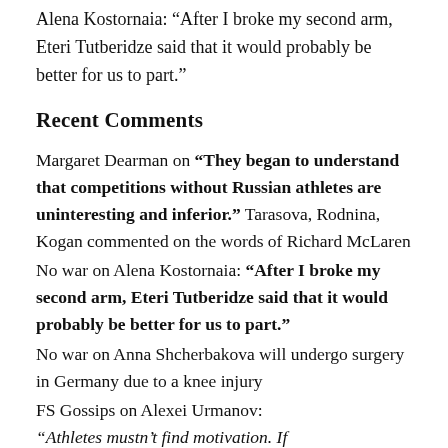Alena Kostornaia: "After I broke my second arm, Eteri Tutberidze said that it would probably be better for us to part."
Recent Comments
Margaret Dearman on “They began to understand that competitions without Russian athletes are uninteresting and inferior.” Tarasova, Rodnina, Kogan commented on the words of Richard McLaren
No war on Alena Kostornaia: “After I broke my second arm, Eteri Tutberidze said that it would probably be better for us to part.”
No war on Anna Shcherbakova will undergo surgery in Germany due to a knee injury
FS Gossips on Alexei Urmanov: “Athletes mustn’t find motivation. If